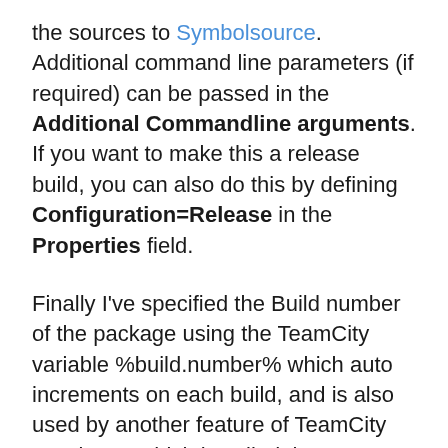the sources to Symbolsource. Additional command line parameters (if required) can be passed in the Additional Commandline arguments. If you want to make this a release build, you can also do this by defining Configuration=Release in the Properties field.
Finally I've specified the Build number of the package using the TeamCity variable %build.number% which auto increments on each build, and is also used by another feature of TeamCity new in 6.5 which is called the AssemblyPatcher, which I'll show you as the last step.